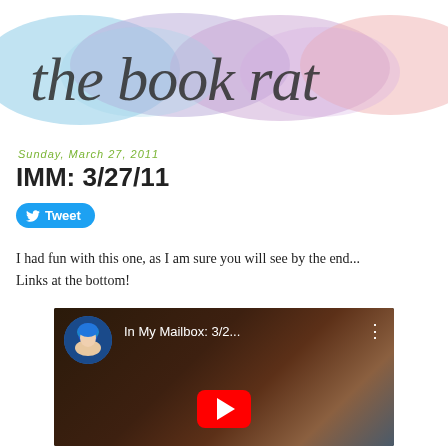[Figure (logo): The Book Rat blog header banner with watercolor pastel background (teal, purple, pink) and cursive handwritten text 'the book rat']
Sunday, March 27, 2011
IMM: 3/27/11
[Figure (other): Twitter Tweet button with bird icon]
I had fun with this one, as I am sure you will see by the end... Links at the bottom!
[Figure (screenshot): YouTube video embed thumbnail showing 'In My Mailbox: 3/2...' with a person with blue hair avatar, dark background figure, and red YouTube play button]